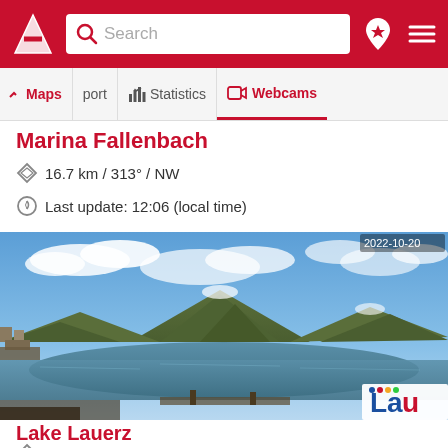Search
Maps | port | Statistics | Webcams
Marina Fallenbach
16.7 km / 313° / NW
Last update: 12:06 (local time)
[Figure (photo): Panoramic webcam view of Lake Lauerz with mountains in the background, blue sky with clouds, and a lakeside town visible on the left. A Lau logo watermark is visible in the bottom right corner.]
Lake Lauerz
19.5 km / 321° / NW